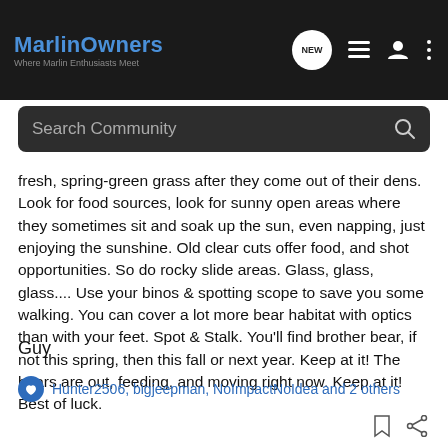MarlinOwners — Where Marlin Enthusiasts Meet (navigation bar with search)
fresh, spring-green grass after they come out of their dens. Look for food sources, look for sunny open areas where they sometimes sit and soak up the sun, even napping, just enjoying the sunshine. Old clear cuts offer food, and shot opportunities. So do rocky slide areas. Glass, glass, glass.... Use your binos & spotting scope to save you some walking. You can cover a lot more bear habitat with optics than with your feet. Spot & Stalk. You'll find brother bear, if not this spring, then this fall or next year. Keep at it! The bears are out, feeding, and moving right now. Keep at it! Best of luck.
Guy
Hunter2506, bigjeepman, NoImpactNoIdea and 2 others